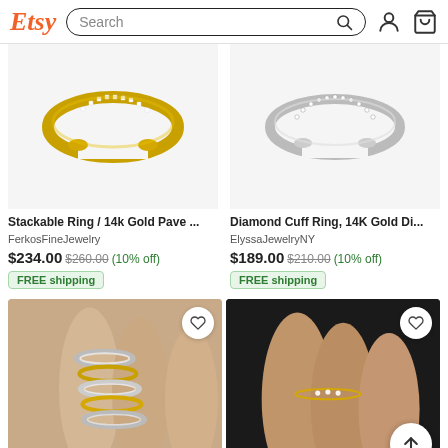Etsy Search
[Figure (photo): Gold open cuff ring with diamond pave setting on white background]
Stackable Ring / 14k Gold Pave ...
FerkosFineJewelry
$234.00 $260.00 (10% off) FREE shipping
[Figure (photo): Silver/white gold open cuff ring with diamond pave setting on white background]
Diamond Cuff Ring, 14K Gold Di...
ElyssaJewelryNY
$189.00 $210.00 (10% off) FREE shipping
[Figure (photo): Hand wearing multiple stacked gold and silver rings with diamond pave accents]
[Figure (photo): Hand wearing a delicate thin gold ring with three small diamond accents on dark background]